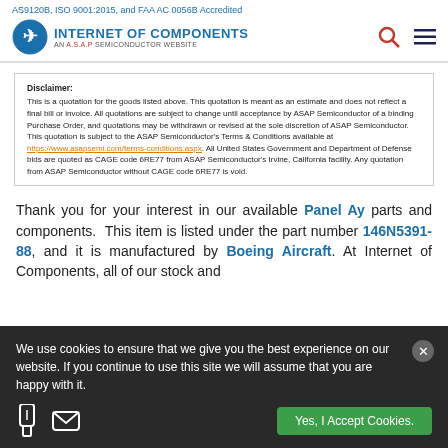AS9120B, ISO 9001:2015, and FAA AC 0056B Accredited
[Figure (logo): Internet of Components - An A.S.A.P Semiconductor Website logo with globe icon]
Disclaimer: This is a quotation for the goods listed above. This quotation is meant as an estimate and does not reflect a final bill or invoice. All quotations are subject to change until acceptance by ASAP Semiconductor of a binding Purchase Order, and quotations may be withdrawn or revised at the sole discretion of ASAP Semiconductor. This quotation is subject to the ASAP Semiconductor's Terms & Conditions available at https://www.asapsemi.com/terms-conditions.aspx. All United States Government and Department of Defense bids are quoted as CAGE code 6RE77 from ASAP Semiconductor's Irvine, California facility. Any quotation from ASAP Semiconductor without CAGE code 6RE77 is void.
Thank you for your interest in our available Panel Ay parts and components. This item is listed under the part number 146N5391-88, and it is manufactured by Boeing Aircraft. At Internet of Components, all of our stock and
We use cookies to ensure that we give you the best experience on our website. If you continue to use this site we will assume that you are happy with it.